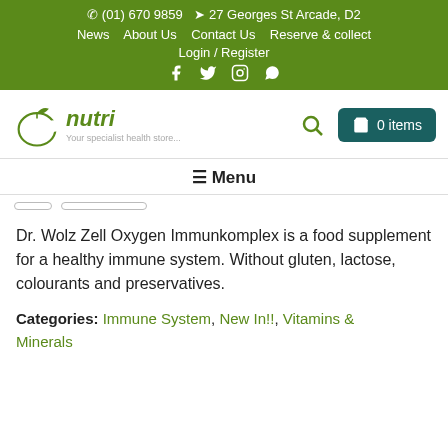(01) 670 9859   27 Georges St Arcade, D2   News   About Us   Contact Us   Reserve & collect   Login / Register
[Figure (logo): Nutri health store logo with green apple icon and tagline 'Your specialist health store...']
☰ Menu
Dr. Wolz Zell Oxygen Immunkomplex is a food supplement for a healthy immune system. Without gluten, lactose, colourants and preservatives.
Categories: Immune System, New In!!, Vitamins & Minerals